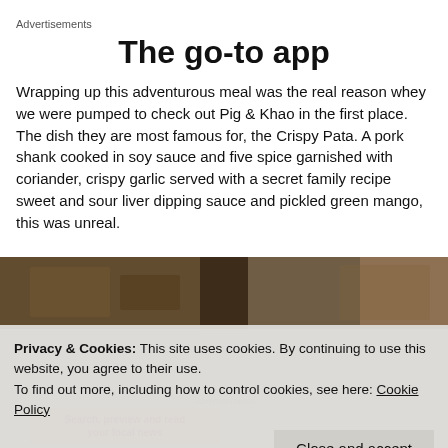Advertisements
The go-to app
Wrapping up this adventurous meal was the real reason whey we were pumped to check out Pig & Khao in the first place. The dish they are most famous for, the Crispy Pata. A pork shank cooked in soy sauce and five spice garnished with coriander, crispy garlic served with a secret family recipe sweet and sour liver dipping sauce and pickled green mango, this was unreal.
[Figure (photo): Restaurant interior photo showing dining area with warm lighting]
Privacy & Cookies: This site uses cookies. By continuing to use this website, you agree to their use.
To find out more, including how to control cookies, see here: Cookie Policy
Close and accept